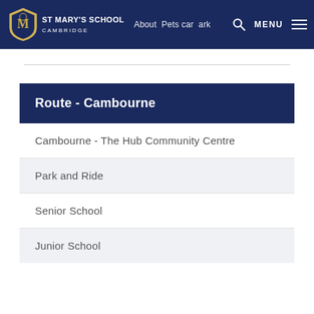St Mary's School Cambridge — About Pets car park — MENU
Route - Cambourne
Cambourne - The Hub Community Centre
Park and Ride
Senior School
Junior School